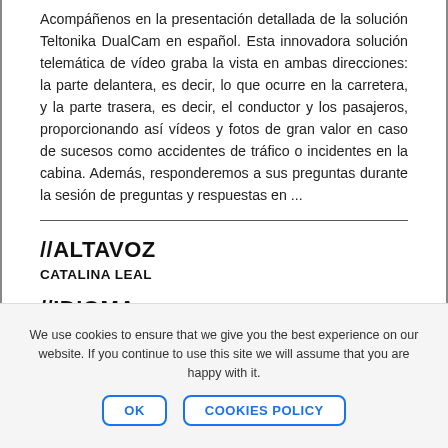Acompáñenos en la presentación detallada de la solución Teltonika DualCam en español. Esta innovadora solución telemática de vídeo graba la vista en ambas direcciones: la parte delantera, es decir, lo que ocurre en la carretera, y la parte trasera, es decir, el conductor y los pasajeros, proporcionando así vídeos y fotos de gran valor en caso de sucesos como accidentes de tráfico o incidentes en la cabina. Además, responderemos a sus preguntas durante la sesión de preguntas y respuestas en ...
//ALTAVOZ
CATALINA LEAL
//IDIOMA
SPANISH
We use cookies to ensure that we give you the best experience on our website. If you continue to use this site we will assume that you are happy with it.